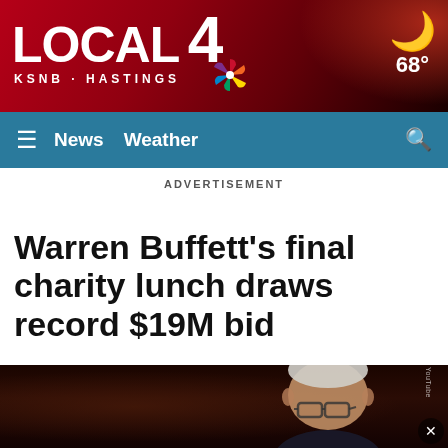LOCAL 4 KSNB · HASTINGS — 68°
≡ News  Weather  🔍
ADVERTISEMENT
Warren Buffett's final charity lunch draws record $19M bid
[Figure (photo): Warren Buffett shown in close-up, wearing glasses, dark background, YouTube watermark visible]